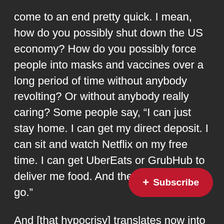come to an end pretty quick. I mean, how do you possibly shut down the US economy? How do you possibly force people into masks and vaccines over a long period of time without anybody revolting? Or without anybody really caring? Some people say, “I can just stay home. I can get my direct deposit. I can sit and watch Netflix on my free time. I can get UberEats or GrubHub to deliver me food. And then we’re good to go.”
And [that hypocrisy] translates now into the kinds of bizarre spectacles we see all the time, like the Met Gala. You’ve got a bunch of rich people with no masks, but all the help is required to wear a mask at all times. Talk about, talk about creating nons… between people—obviously not base… science whatsoever. And yet here we are, and it seems
+ Subscribe